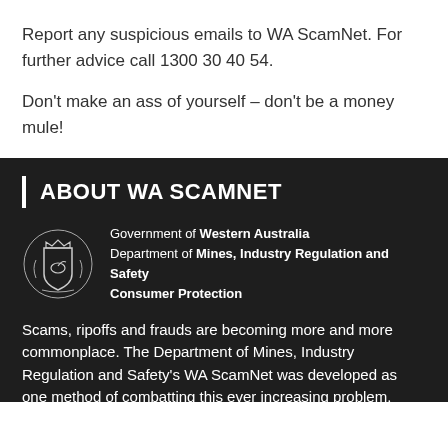Report any suspicious emails to WA ScamNet. For further advice call 1300 30 40 54.
Don't make an ass of yourself – don't be a money mule!
ABOUT WA SCAMNET
[Figure (logo): Government of Western Australia coat of arms logo]
Government of Western Australia
Department of Mines, Industry Regulation and Safety
Consumer Protection
Scams, ripoffs and frauds are becoming more and more commonplace. The Department of Mines, Industry Regulation and Safety's WA ScamNet was developed as one method of combatting this ever increasing problem.